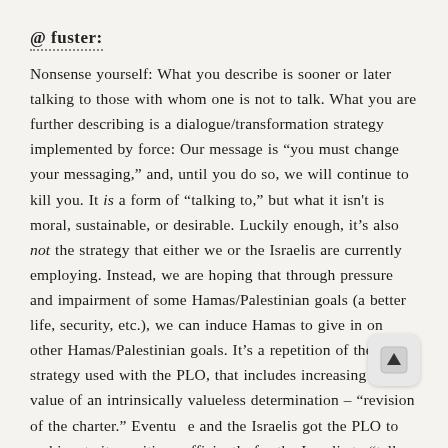@ fuster:
Nonsense yourself: What you describe is sooner or later talking to those with whom one is not to talk. What you are further describing is a dialogue/transformation strategy implemented by force: Our message is “you must change your messaging,” and, until you do so, we will continue to kill you. It is a form of “talking to,” but what it isn't is moral, sustainable, or desirable. Luckily enough, it’s also not the strategy that either we or the Israelis are currently employing. Instead, we are hoping that through pressure and impairment of some Hamas/Palestinian goals (a better life, security, etc.), we can induce Hamas to give in on other Hamas/Palestinian goals. It’s a repetition of the strategy used with the PLO, that includes increasing the value of an intrinsically valueless determination – “revision of the charter.” Eventually and the Israelis got the PLO to ambiguate its position sufficiently for the Israelis to “talk to” the PLO – though